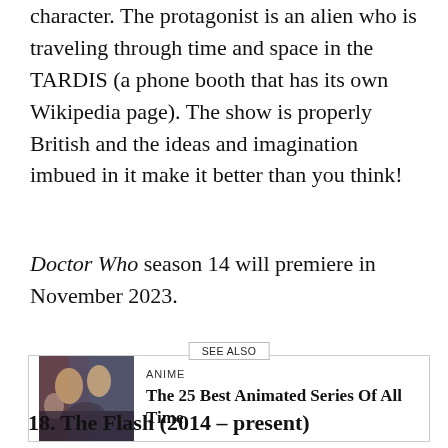character. The protagonist is an alien who is traveling through time and space in the TARDIS (a phone booth that has its own Wikipedia page). The show is properly British and the ideas and imagination imbued in it make it better than you think!
Doctor Who season 14 will premiere in November 2023.
[Figure (illustration): SEE ALSO box with thumbnail image of anime characters (dark-toned group illustration) and link to 'The 25 Best Animated Series Of All Time' under ANIME category]
18. The Flash (2014 – present)